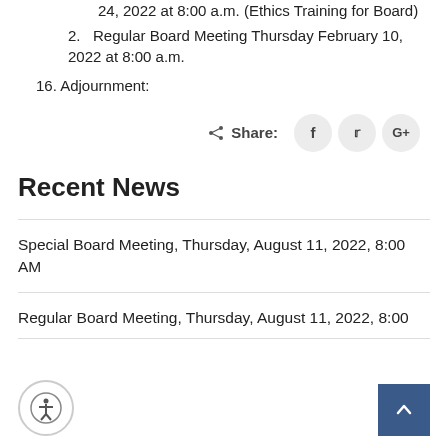24, 2022 at 8:00 a.m. (Ethics Training for Board)
2. Regular Board Meeting Thursday February 10, 2022 at 8:00 a.m.
16. Adjournment:
Share:
Recent News
Special Board Meeting, Thursday, August 11, 2022, 8:00 AM
Regular Board Meeting, Thursday, August 11, 2022, 8:00